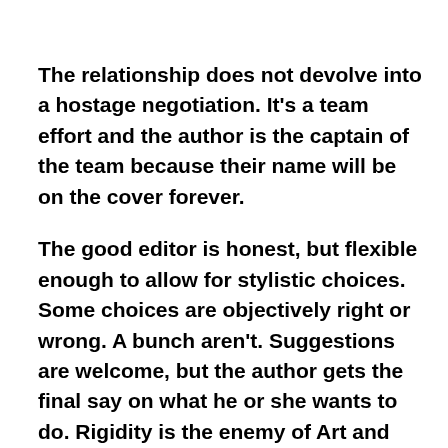The relationship does not devolve into a hostage negotiation. It's a team effort and the author is the captain of the team because their name will be on the cover forever.
The good editor is honest, but flexible enough to allow for stylistic choices. Some choices are objectively right or wrong. A bunch aren't. Suggestions are welcome, but the author gets the final say on what he or she wants to do. Rigidity is the enemy of Art and good editors and authors know that. (Hint: Sentence fragments can be cool. They are not worse than herpes plus Shia Labeouf compounded by our sun exploding on Thursday afternoon while Yoko Ono